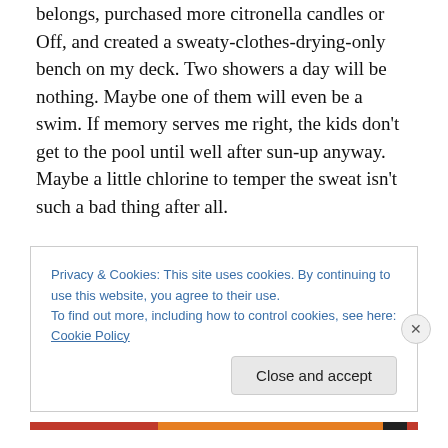belongs, purchased more citronella candles or Off, and created a sweaty-clothes-drying-only bench on my deck. Two showers a day will be nothing. Maybe one of them will even be a swim. If memory serves me right, the kids don't get to the pool until well after sun-up anyway. Maybe a little chlorine to temper the sweat isn't such a bad thing after all.
Privacy & Cookies: This site uses cookies. By continuing to use this website, you agree to their use. To find out more, including how to control cookies, see here: Cookie Policy